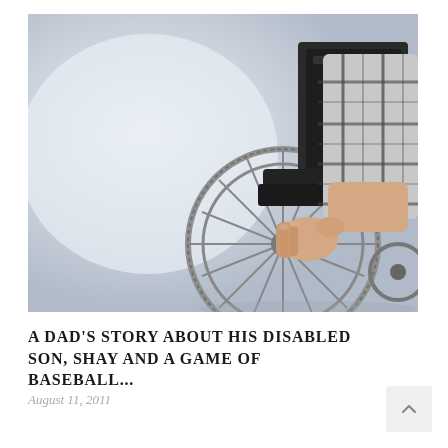[Figure (photo): Close-up photo of a person in a plaid shirt sitting in a wheelchair, hand gripping the wheel. Light background, partial body view.]
A DAD'S STORY ABOUT HIS DISABLED SON, SHAY AND A GAME OF BASEBALL...
August 11, 2011